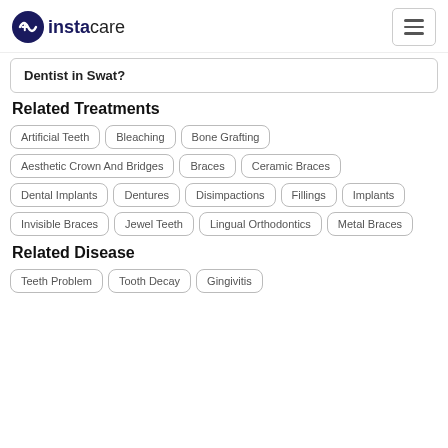instacare
Dentist in Swat?
Related Treatments
Artificial Teeth
Bleaching
Bone Grafting
Aesthetic Crown And Bridges
Braces
Ceramic Braces
Dental Implants
Dentures
Disimpactions
Fillings
Implants
Invisible Braces
Jewel Teeth
Lingual Orthodontics
Metal Braces
Related Disease
Teeth Problem
Tooth Decay
Gingivitis